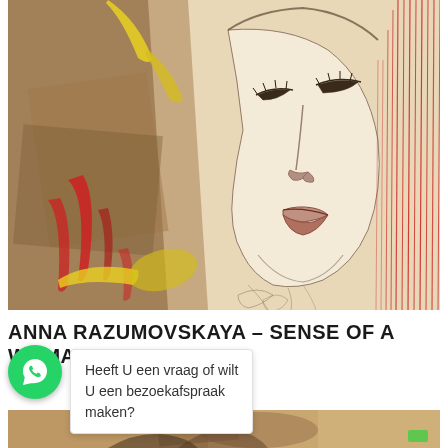[Figure (illustration): Mixed media artwork by Anna Razumovskaya showing a woman's face in pencil sketch with watercolor washes of brown, red, and yellow on left side, and vertical red lines on right side.]
ANNA RAZUMOVSKAYA – SENSE OF A WOMAN IV
Heeft U een vraag of wilt U een bezoekafspraak maken?
[Figure (photo): Bottom portion of another artwork partially visible.]